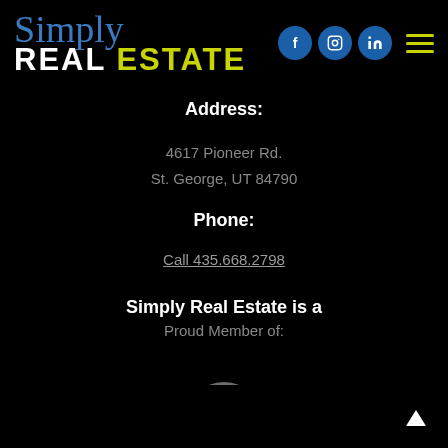Simply REAL ESTATE
Address:
4617 Pioneer Rd.
St. George, UT 84790
Phone:
Call 435.668.2798
Simply Real Estate is a
Proud Member of:
[Figure (logo): Partial circular logo visible at bottom of page]